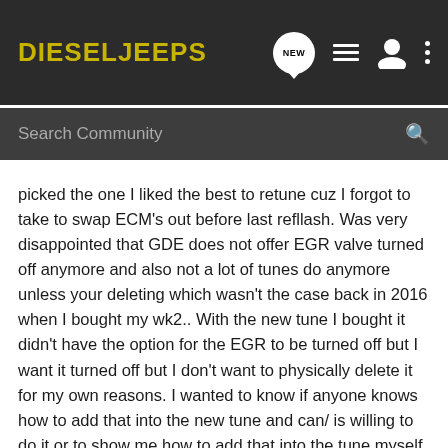DIESELJEEPS
Search Community
picked the one I liked the best to retune cuz I forgot to take to swap ECM's out before last refllash. Was very disappointed that GDE does not offer EGR valve turned off anymore and also not a lot of tunes do anymore unless your deleting which wasn't the case back in 2016 when I bought my wk2.. With the new tune I bought it didn't have the option for the EGR to be turned off but I want it turned off but I don't want to physically delete it for my own reasons. I wanted to know if anyone knows how to add that into the new tune and can/ is willing to do it or to show me how to add that into the tune myself. I would be greatly appreciated it!
Thanks!
Zac